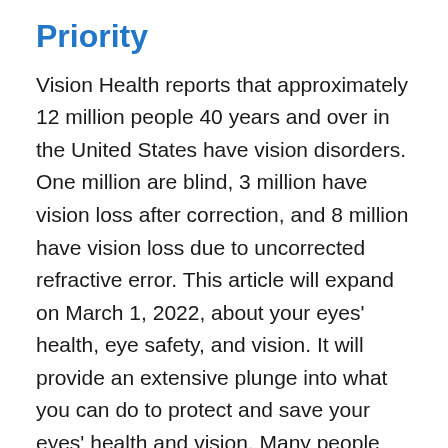Priority
Vision Health reports that approximately 12 million people 40 years and over in the United States have vision disorders. One million are blind, 3 million have vision loss after correction, and 8 million have vision loss due to uncorrected refractive error. This article will expand on March 1, 2022, about your eyes' health, eye safety, and vision. It will provide an extensive plunge into what you can do to protect and save your eyes' health and vision. Many people assume that because they have good visual awareness, and can see well, conclude that they have healthy eyes. This sometimes can be far from the